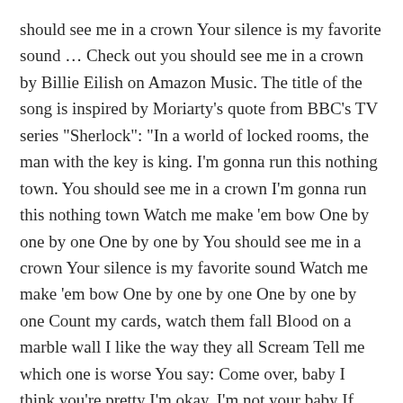should see me in a crown Your silence is my favorite sound … Check out you should see me in a crown by Billie Eilish on Amazon Music. The title of the song is inspired by Moriarty's quote from BBC's TV series "Sherlock": "In a world of locked rooms, the man with the key is king. I'm gonna run this nothing town. You should see me in a crown I'm gonna run this nothing town Watch me make 'em bow One by one by one One by one by You should see me in a crown Your silence is my favorite sound Watch me make 'em bow One by one by one One by one by one Count my cards, watch them fall Blood on a marble wall I like the way they all Scream Tell me which one is worse You say: Come over, baby I think you're pretty I'm okay, I'm not your baby If you think I'm pretty. you should see me in a crown de Billie Eilish, música para ouvir com letra,